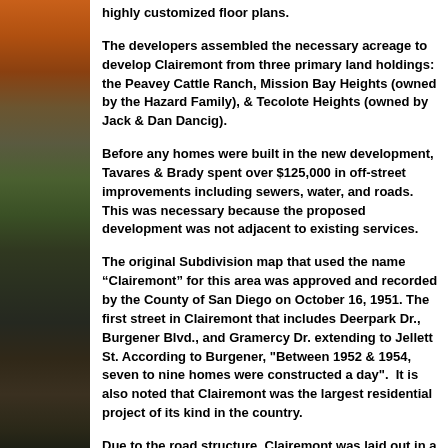highly customized floor plans.
The developers assembled the necessary acreage to develop Clairemont from three primary land holdings: the Peavey Cattle Ranch, Mission Bay Heights (owned by the Hazard Family), & Tecolote Heights (owned by Jack & Dan Dancig).
Before any homes were built in the new development, Tavares & Brady spent over $125,000 in off-street improvements including sewers, water, and roads. This was necessary because the proposed development was not adjacent to existing services.
The original Subdivision map that used the name "Clairemont" for this area was approved and recorded by the County of San Diego on October 16, 1951. The first street in Clairemont that includes Deerpark Dr., Burgener Blvd., and Gramercy Dr. extending to Jellett St. According to Burgener, "Between 1952 & 1954, seven to nine homes were constructed a day".  It is also noted that Clairemont was the largest residential project of its kind in the country.
Due to the road structure, Clairemont was laid out in a Northern direction first, so "North Clairemont" evolved. However, Clairemont also began to grow in a southern direction. Clairemont's western side has a majority of family homes. There are some apartments in this area but not nearly as many in the eastern side. There are also some rows of apartments and duplexes scattered around the area east of...